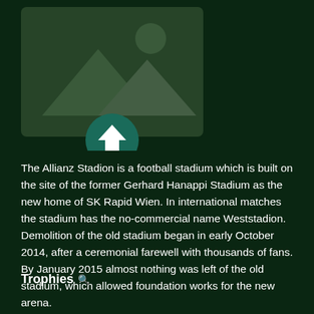[Figure (illustration): Image upload placeholder icon — a grey rectangle with a mountain/landscape image icon and a teal circular upload arrow button overlaid at the bottom center]
The Allianz Stadion is a football stadium which is built on the site of the former Gerhard Hanappi Stadium as the new home of SK Rapid Wien. In international matches the stadium has the no-commercial name Weststadion. Demolition of the old stadium began in early October 2014, after a ceremonial farewell with thousands of fans. By January 2015 almost nothing was left of the old stadium, which allowed foundation works for the new arena.
Trophies 🔍